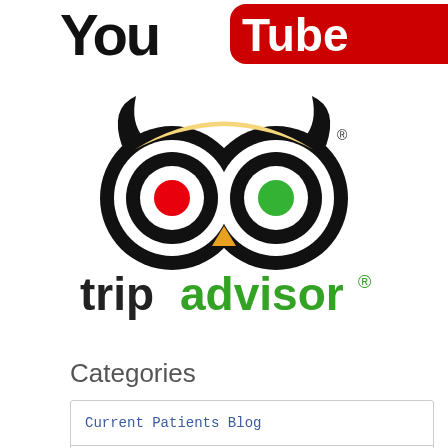[Figure (logo): Partial YouTube logo visible at top of page — red rectangle with white text, partially cropped]
[Figure (logo): TripAdvisor logo: owl face icon with concentric circle eyes (red left pupil, green right pupil, yellow brow) above the text 'tripadvisor' in black and green with registered trademark symbol]
Categories
Current Patients Blog
Hospital Events
Hospital News